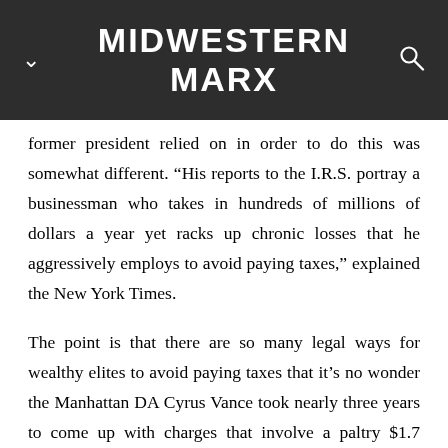MIDWESTERN MARX
former president relied on in order to do this was somewhat different. “His reports to the I.R.S. portray a businessman who takes in hundreds of millions of dollars a year yet racks up chronic losses that he aggressively employs to avoid paying taxes,” explained the New York Times.
The point is that there are so many legal ways for wealthy elites to avoid paying taxes that it’s no wonder the Manhattan DA Cyrus Vance took nearly three years to come up with charges that involve a paltry $1.7 million worth of “perks” that ought to have been reported to the IRS as income. The “sweeping and audacious illegal payments scheme” that Vance accused Weisselberg of